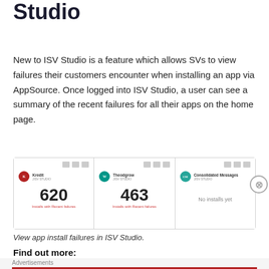Studio
New to ISV Studio is a feature which allows SVs to view failures their customers encounter when installing an app via AppSource. Once logged into ISV Studio, a user can see a summary of the recent failures for all their apps on the home page.
[Figure (screenshot): Screenshot of ISV Studio home page showing three app cards: Kredit (620 Installs with Recent failures), Theodgrow (463 Installs with Recent failures), and Consolidated Messages (No installs yet)]
View app install failures in ISV Studio.
Find out more:
[Figure (photo): Macy's advertisement banner: KISS BORING LIPS GOODBYE with SHOP NOW button and Macy's logo]